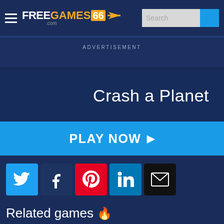FREEGAMES66.com
ADVERTISEMENT
Crash a Planet
PLAY NOW ▶
[Figure (infographic): Social share icons: Twitter, Facebook, Pinterest, LinkedIn, Email]
Related games 🔥